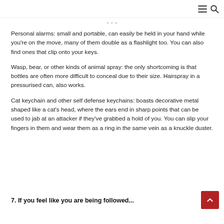≡ 🔍
· · ·
Personal alarms: small and portable, can easily be held in your hand while you're on the move, many of them double as a flashlight too. You can also find ones that clip onto your keys.
Wasp, bear, or other kinds of animal spray: the only shortcoming is that bottles are often more difficult to conceal due to their size. Hairspray in a pressurised can, also works.
Cat keychain and other self defense keychains: boasts decorative metal shaped like a cat's head, where the ears end in sharp points that can be used to jab at an attacker if they've grabbed a hold of you. You can slip your fingers in them and wear them as a ring in the same vein as a knuckle duster.
7. If you feel like you are being followed...